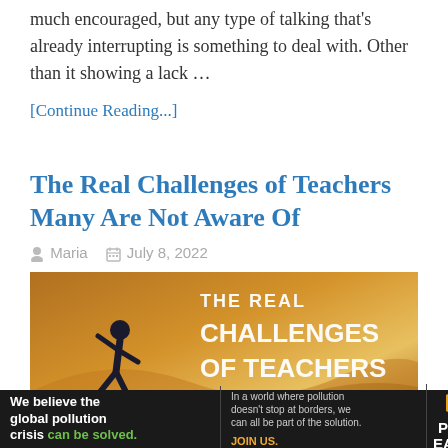much encouraged, but any type of talking that's already interrupting is something to deal with. Other than it showing a lack …
[Continue Reading...]
The Real Challenges of Teachers Many Are Not Aware Of
Maria  July 8, 2022
[Figure (photo): A runner silhouetted against a golden desert background with bold text reading THE REAL CHALLENGES OF TEACHERS THAT MANY]
[Figure (infographic): Ad banner: We believe the global pollution crisis can be solved. In a world where pollution doesn't stop at borders, we can all be part of the solution. JOIN US. PURE EARTH logo.]